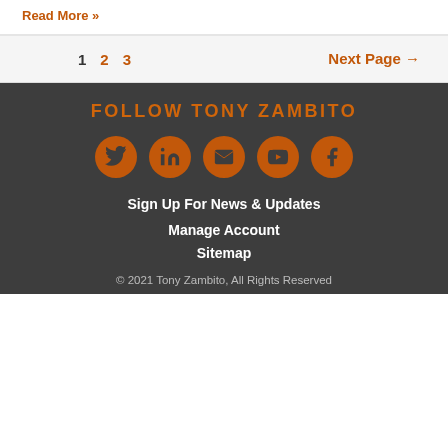Read More »
1  2  3  Next Page →
FOLLOW TONY ZAMBITO
[Figure (infographic): Five social media icons in orange circles: Twitter, LinkedIn, Email, YouTube, Facebook]
Sign Up For News & Updates
Manage Account
Sitemap
© 2021 Tony Zambito, All Rights Reserved